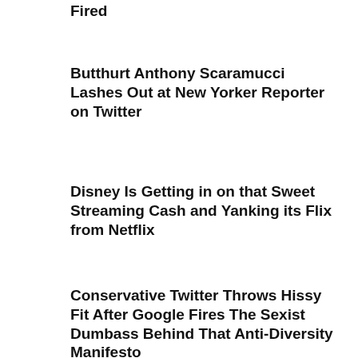Fired
Butthurt Anthony Scaramucci Lashes Out at New Yorker Reporter on Twitter
Disney Is Getting in on that Sweet Streaming Cash and Yanking its Flix from Netflix
Conservative Twitter Throws Hissy Fit After Google Fires The Sexist Dumbass Behind That Anti-Diversity Manifesto
Critics Got to See Marvel's